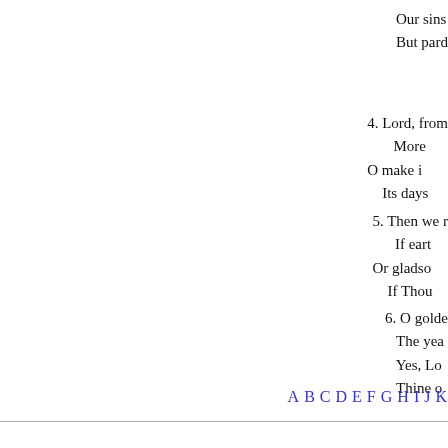Our sins
But pard
4. Lord, from
   More
O make i
   Its days
5. Then we r
   If eart
Or gladso
   If Thou
6. O golde
The yea
Yes, Lo
Thine o
A B C D E F G H I J ...